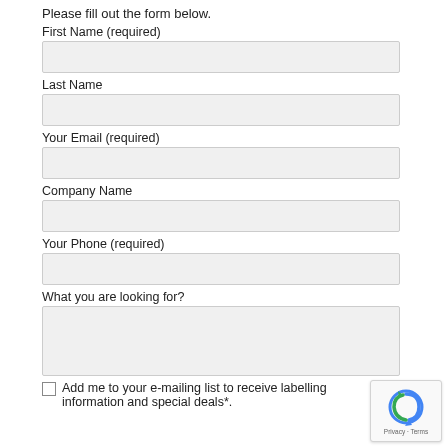Please fill out the form below.
First Name (required)
Last Name
Your Email (required)
Company Name
Your Phone (required)
What you are looking for?
Add me to your e-mailing list to receive labelling information and special deals*.